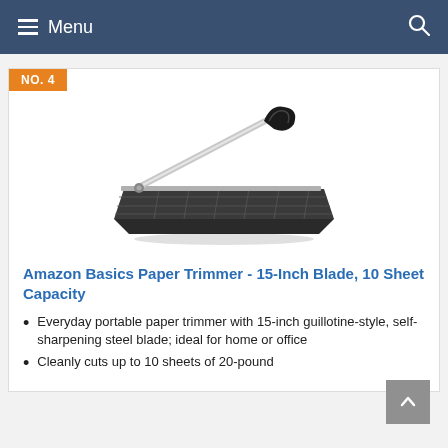Menu
NO. 4
[Figure (photo): Amazon Basics Paper Trimmer — a guillotine-style paper trimmer with black base and silver/chrome blade arm with black handle, viewed from an angle.]
Amazon Basics Paper Trimmer - 15-Inch Blade, 10 Sheet Capacity
Everyday portable paper trimmer with 15-inch guillotine-style, self-sharpening steel blade; ideal for home or office
Cleanly cuts up to 10 sheets of 20-pound